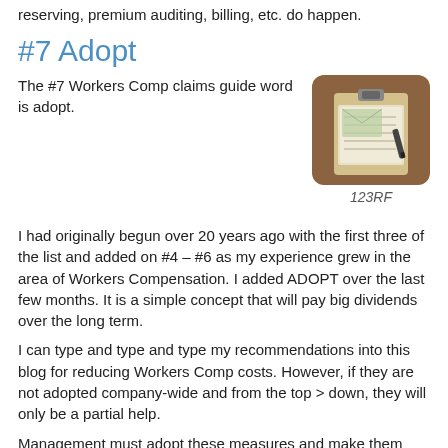reserving, premium auditing, billing, etc. do happen.
#7 Adopt
The #7 Workers Comp claims guide word is adopt.
[Figure (photo): Photo of a clipboard with papers and a pen, stacked documents on a wooden surface]
123RF
I had originally begun over 20 years ago with the first three of the list and added on #4 – #6 as my experience grew in the area of Workers Compensation. I added ADOPT over the last few months. It is a simple concept that will pay big dividends over the long term.
I can type and type and type my recommendations into this blog for reducing Workers Comp costs. However, if they are not adopted company-wide and from the top > down, they will only be a partial help.
Management must adopt these measures and make them part of the company/corporate culture for them to succeed. I have often see the Safety/Risk